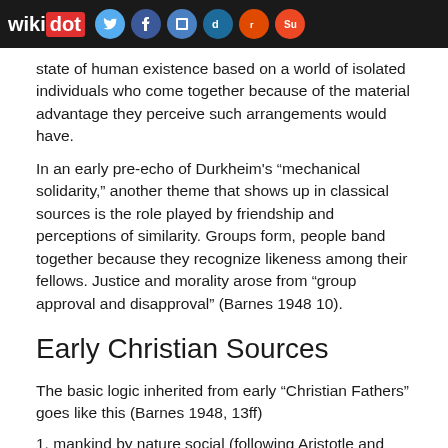wikidot [social icons]
state of human existence based on a world of isolated individuals who come together because of the material advantage they perceive such arrangements would have.
In an early pre-echo of Durkheim's “mechanical solidarity,” another theme that shows up in classical sources is the role played by friendship and perceptions of similarity. Groups form, people band together because they recognize likeness among their fellows. Justice and morality arose from “group approval and disapproval” (Barnes 1948 10).
Early Christian Sources
The basic logic inherited from early “Christian Fathers” goes like this (Barnes 1948, 13ff)
1. mankind by nature social (following Aristotle and Stoics)
2. golden age, state of nature without coercive government was garden of Eden prior to the fall
3. government was necessary after the fall because of human vices
4. government is a divine institution, leaders are agents of god, rebellion is a sin
5. earthly utility of the state is incidental, heaven is what is important